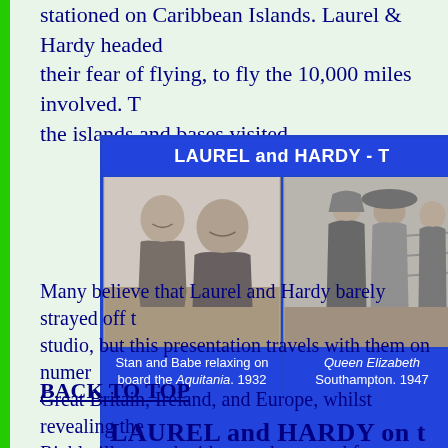stationed on Caribbean Islands. Laurel & Hardy headed their fear of flying, to fly the 10,000 miles involved. The the islands and bases visited.
[Figure (photo): Gallery box with blue header reading 'LAUREL and HARDY - T...' and two black and white photographs with captions. Left photo: Stan and Babe relaxing on board the Aquitania. 1932. Right photo: Queen Elizabeth Southampton. 1947.]
Stan and Babe relaxing on board the Aquitania. 1932
Queen Elizabeth Southampton. 1947
Many believe that Laurel and Hardy barely strayed off the studio, but this presentation travels with them on numerous trips to Great Britain, Ireland, and Europe, whilst revealing the... Richly illustrated with rare photos and footage.
BACK TO TOP
LAUREL and HARDY on t...